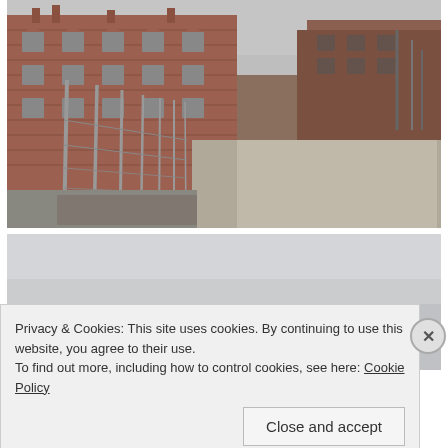[Figure (photo): Photograph of Auschwitz concentration camp brick barracks buildings with barbed wire fence, viewed from a pathway between fences, overcast winter sky, bare trees visible in background.]
[Figure (photo): Second photograph partially visible, light gray overcast sky, appears to be another outdoor scene, partially obscured by cookie consent banner.]
Privacy & Cookies: This site uses cookies. By continuing to use this website, you agree to their use.
To find out more, including how to control cookies, see here: Cookie Policy
Close and accept